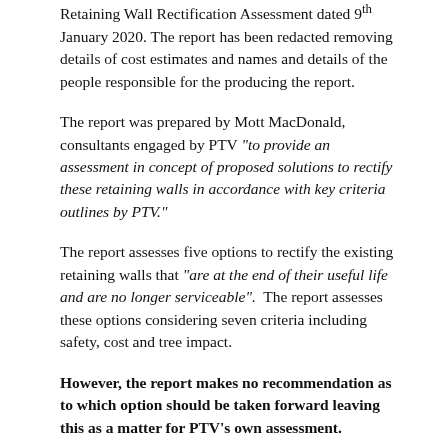Retaining Wall Rectification Assessment dated 9th January 2020. The report has been redacted removing details of cost estimates and names and details of the people responsible for the producing the report.
The report was prepared by Mott MacDonald, consultants engaged by PTV "to provide an assessment in concept of proposed solutions to rectify these retaining walls in accordance with key criteria outlines by PTV."
The report assesses five options to rectify the existing retaining walls that "are at the end of their useful life and are no longer serviceable". The report assesses these options considering seven criteria including safety, cost and tree impact.
However, the report makes no recommendation as to which option should be taken forward leaving this as a matter for PTV's own assessment.